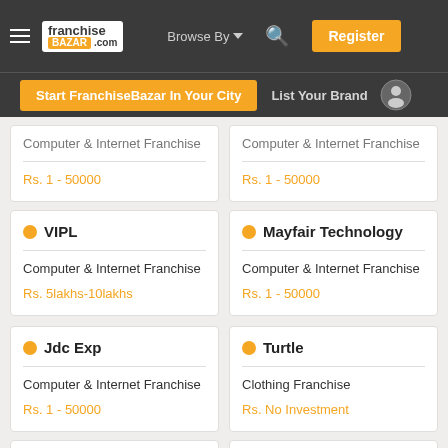franchiseBazar.com — Browse By — Register
Start FranchiseBazar In Your City  List Your Brand
Computer & Internet Franchise
Rs. 1 - 50000
Computer & Internet Franchise
Rs. 1 - 50000
VIPL
Computer & Internet Franchise
Rs. 5lakhs-10lakhs
Mayfair Technology
Computer & Internet Franchise
Rs. 1 - 50000
Jdc Exp
Computer & Internet Franchise
Rs. 1 - 50000
Turtle
Clothing Franchise
Rs. No Investment